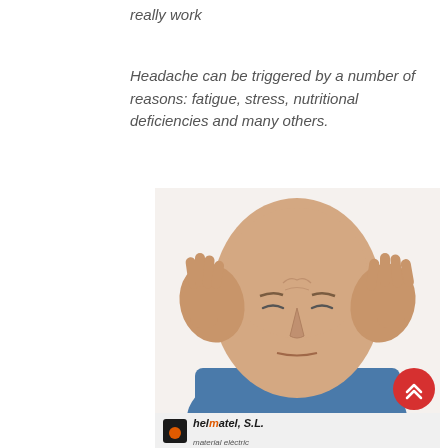really work
Headache can be triggered by a number of reasons: fatigue, stress, nutritional deficiencies and many others.
[Figure (photo): Man pressing his temples with both hands, eyes closed, appearing to have a headache, wearing a blue shirt, white background]
helmatel, S.L. material elèctric